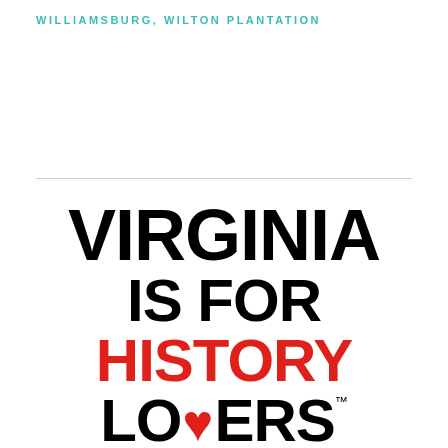WILLIAMSBURG, WILTON PLANTATION
[Figure (logo): Virginia is for History Lovers logo — bold black sans-serif text reading VIRGINIA / IS FOR / HISTORY (in red) / LOVERS (with red heart replacing the O) with TM mark]